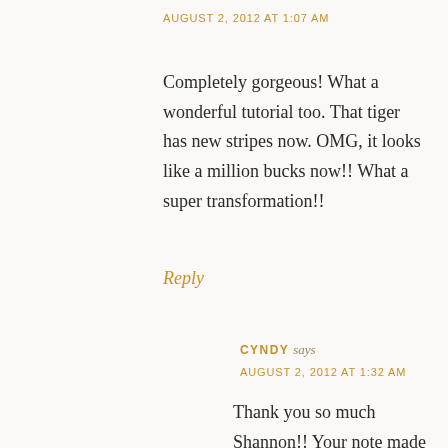AUGUST 2, 2012 AT 1:07 AM
Completely gorgeous! What a wonderful tutorial too. That tiger has new stripes now. OMG, it looks like a million bucks now!! What a super transformation!!
Reply
CYNDY says
AUGUST 2, 2012 AT 1:32 AM
Thank you so much Shannon!! Your note made my night! Thank you so much for stopping by Shannon! Cyndy